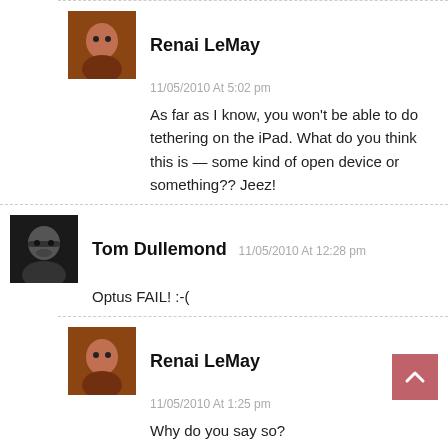Renai LeMay
11/05/2010 At 5:02 pm
As far as I know, you won't be able to do tethering on the iPad. What do you think this is — some kind of open device or something?? Jeez!
Tom Dullemond
11/05/2010 At 12:28 pm
Optus FAIL! :-(
Renai LeMay
11/05/2010 At 1:25 pm
Why do you say so?
Xander